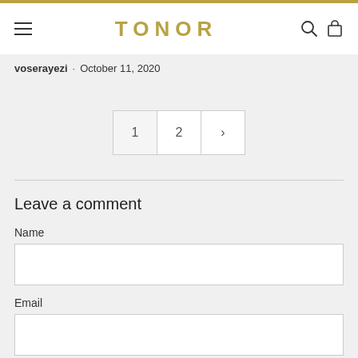TONOR
voserayezi · October 11, 2020
[Figure (other): Pagination control with page buttons: 1, 2, and next arrow (>)]
Leave a comment
Name
Email